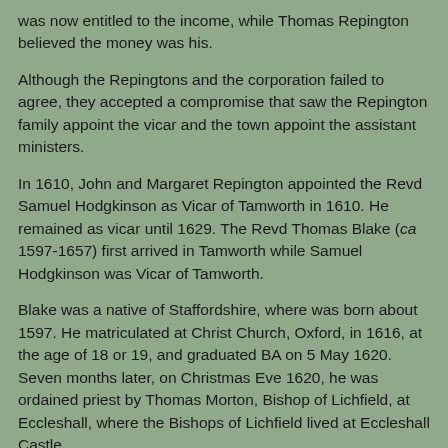was now entitled to the income, while Thomas Repington believed the money was his.
Although the Repingtons and the corporation failed to agree, they accepted a compromise that saw the Repington family appoint the vicar and the town appoint the assistant ministers.
In 1610, John and Margaret Repington appointed the Revd Samuel Hodgkinson as Vicar of Tamworth in 1610. He remained as vicar until 1629. The Revd Thomas Blake (ca 1597-1657) first arrived in Tamworth while Samuel Hodgkinson was Vicar of Tamworth.
Blake was a native of Staffordshire, where was born about 1597. He matriculated at Christ Church, Oxford, in 1616, at the age of 18 or 19, and graduated BA on 5 May 1620. Seven months later, on Christmas Eve 1620, he was ordained priest by Thomas Morton, Bishop of Lichfield, at Eccleshall, where the Bishops of Lichfield lived at Eccleshall Castle.